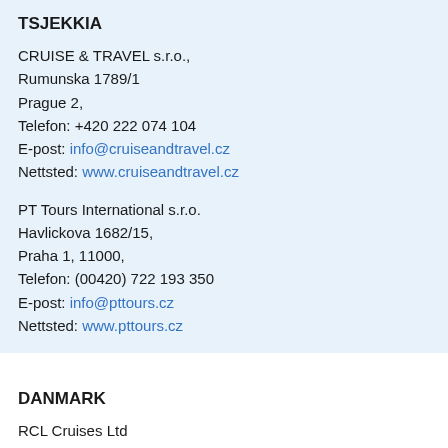TSJEKKIA
CRUISE & TRAVEL s.r.o.,
Rumunska 1789/1
Prague 2,
Telefon: +420 222 074 104
E-post: info@cruiseandtravel.cz
Nettsted: www.cruiseandtravel.cz
PT Tours International s.r.o.
Havlickova 1682/15,
Praha 1, 11000,
Telefon: (00420) 722 193 350
E-post: info@pttours.cz
Nettsted: www.pttours.cz
DANMARK
RCL Cruises Ltd
Vollsveien 19
Mustadsvei 1